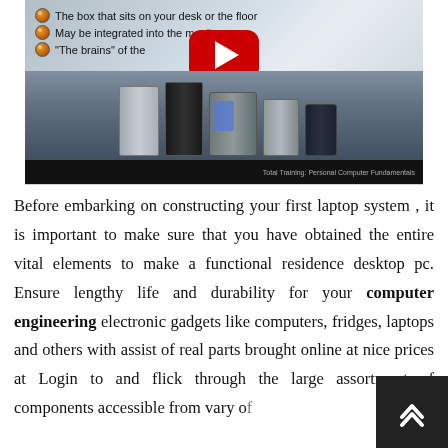[Figure (screenshot): A YouTube video thumbnail showing computer tower cases with bullet points: 'The box that sits on your desk or the floor', 'May be integrated into the monitor', '"The brains" of the...' and a YouTube play button overlay. Caption at bottom reads 'Total Training: Personal Computer Fundamentals'.]
Before embarking on constructing your first laptop system , it is important to make sure that you have obtained the entire vital elements to make a functional residence desktop pc. Ensure lengthy life and durability for your computer engineering electronic gadgets like computers, fridges, laptops and others with assist of real parts brought online at nice prices at Login to and flick through the large assortment of components accessible from vary of